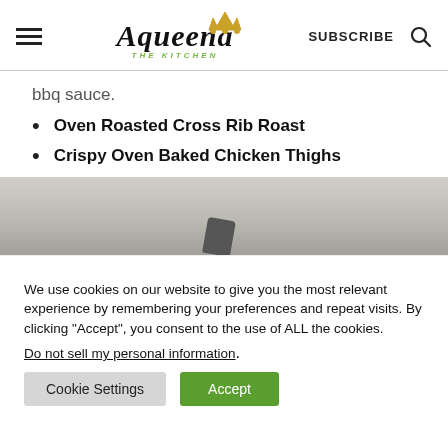Aqueena THE KITCHEN | SUBSCRIBE
bbq sauce.
Oven Roasted Cross Rib Roast
Crispy Oven Baked Chicken Thighs
[Figure (photo): Partial food photo, gray/silver textured background with a dark food item visible]
We use cookies on our website to give you the most relevant experience by remembering your preferences and repeat visits. By clicking “Accept”, you consent to the use of ALL the cookies.
Do not sell my personal information.
Cookie Settings | Accept